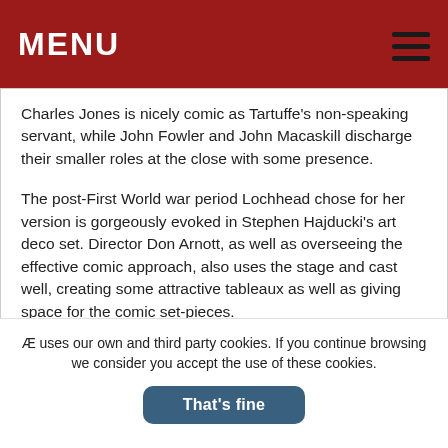MENU
Charles Jones is nicely comic as Tartuffe’s non-speaking servant, while John Fowler and John Macaskill discharge their smaller roles at the close with some presence.
The post-First World war period Lochhead chose for her version is gorgeously evoked in Stephen Hajducki’s art deco set. Director Don Arnott, as well as overseeing the effective comic approach, also uses the stage and cast well, creating some attractive tableaux as well as giving space for the comic set-pieces.
Perhaps some of this comedy could be exploited even further – despite the successful approach to the language, some of the funnier lines and situations lack some confidence. This is never enough, however, to undermine the fundamental comic energy which makes this a highly successful effort.
Æ uses our own and third party cookies. If you continue browsing we consider you accept the use of these cookies.